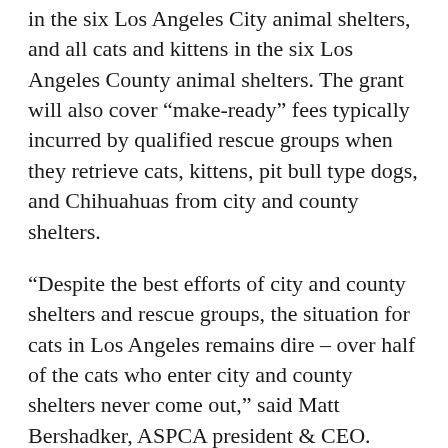in the six Los Angeles City animal shelters, and all cats and kittens in the six Los Angeles County animal shelters. The grant will also cover “make-ready” fees typically incurred by qualified rescue groups when they retrieve cats, kittens, pit bull type dogs, and Chihuahuas from city and county shelters.
“Despite the best efforts of city and county shelters and rescue groups, the situation for cats in Los Angeles remains dire – over half of the cats who enter city and county shelters never come out,” said Matt Bershadker, ASPCA president & CEO. “ASPCA research has shown that waiving cat adoption fees drives new and responsible prospective owners to shelters, dramatically impacting the lives of thousands of